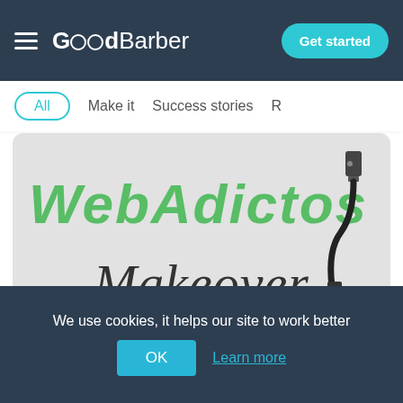GoodBarber — Get started
All   Make it   Success stories   R
[Figure (illustration): WebAdictos Makeover promotional image with illustrated logo text in green on grey background with a USB cable graphic and cursive Makeover text]
Today Daniel Medina, founder of Webadictos, tells us the story behind his app and its new look.
We use cookies, it helps our site to work better
OK   Learn more